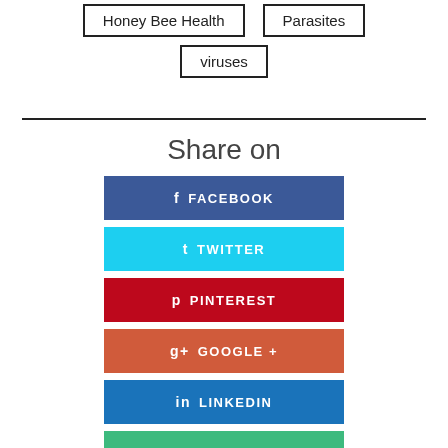Honey Bee Health
Parasites
viruses
Share on
FACEBOOK
TWITTER
PINTEREST
GOOGLE +
LINKEDIN
EMAIL